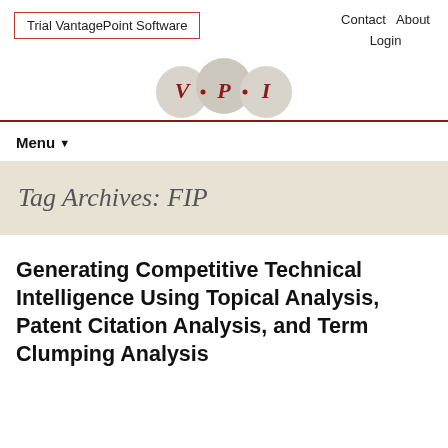Trial VantagePoint Software   Contact   About   Login
[Figure (logo): VPI logo: three overlapping grey circles with letters V, P, I in dark red]
Menu ▾
Tag Archives: FIP
Generating Competitive Technical Intelligence Using Topical Analysis, Patent Citation Analysis, and Term Clumping Analysis